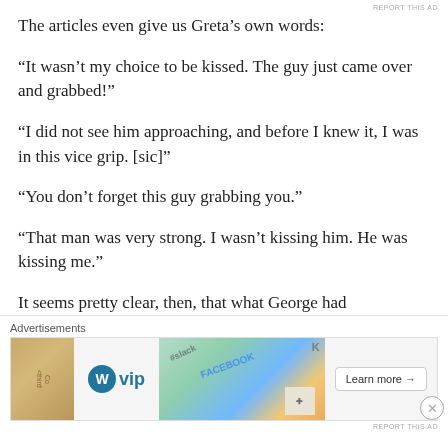REPORT THIS AD
The articles even give us Greta’s own words:
“It wasn’t my choice to be kissed. The guy just came over and grabbed!”
“I did not see him approaching, and before I knew it, I was in this vice grip. [sic]”
“You don’t forget this guy grabbing you.”
“That man was very strong. I wasn’t kissing him. He was kissing me.”
It seems pretty clear, then, that what George had
[Figure (screenshot): Advertisement banner for WordPress VIP showing the WordPress logo with 'vip' text, colorful background tiles referencing tech platforms, a 'Learn more →' button, and an 'Advertisements' label above.]